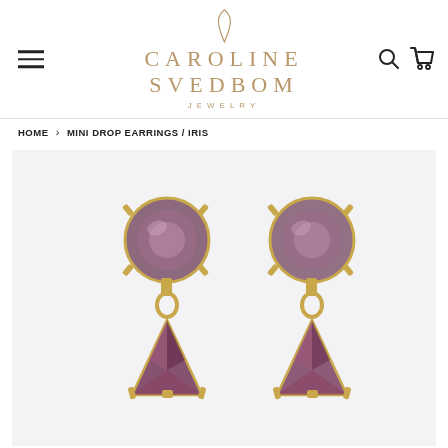[Figure (logo): Caroline Svedbom Jewelry logo with teardrop gem icon above text]
HOME > MINI DROP EARRINGS / IRIS
[Figure (photo): Close-up product photo of two mini drop earrings in gold with round purple/amethyst crystal tops and smaller pyramid-shaped crystal drops, shown on white/light grey background]